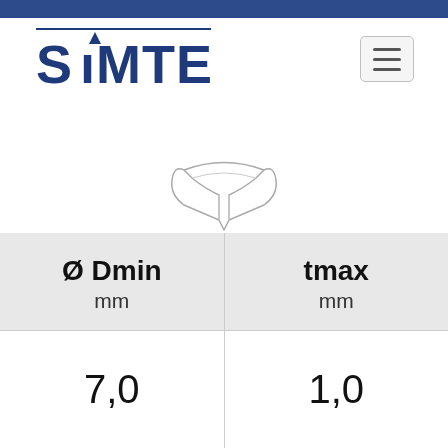[Figure (logo): SIMTEK company logo in dark navy blue]
[Figure (engineering-diagram): Technical illustration of a small ring/clip part, showing a V-shaped or horseshoe cross-section component in light gray/white outline]
| Ø Dmin mm | tmax mm |
| --- | --- |
| 7,0 | 1,0 |